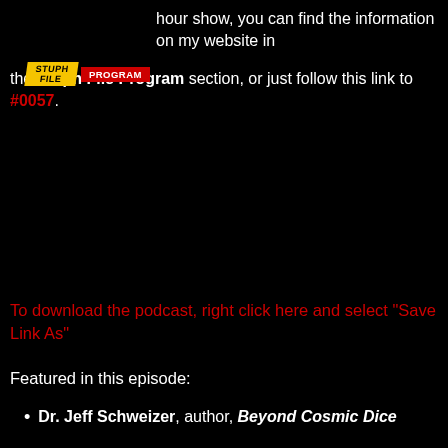[Figure (logo): Stuph File Program logo with yellow and red banner]
hour show, you can find the information on my website in the Stuph File Program section, or just follow this link to #0057.
To download the podcast, right click here and select "Save Link As"
Featured in this episode:
Dr. Jeff Schweizer, author, Beyond Cosmic Dice